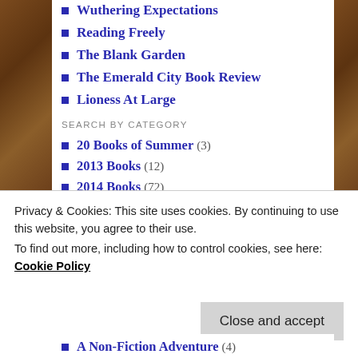Wuthering Expectations
Reading Freely
The Blank Garden
The Emerald City Book Review
Lioness At Large
SEARCH BY CATEGORY
20 Books of Summer (3)
2013 Books (12)
2014 Books (72)
2015 Books (34)
2015 Challenges (3)
2016 Books (22)
2017 Books (6)
Privacy & Cookies: This site uses cookies. By continuing to use this website, you agree to their use. To find out more, including how to control cookies, see here: Cookie Policy
A Non-Fiction Adventure (4)